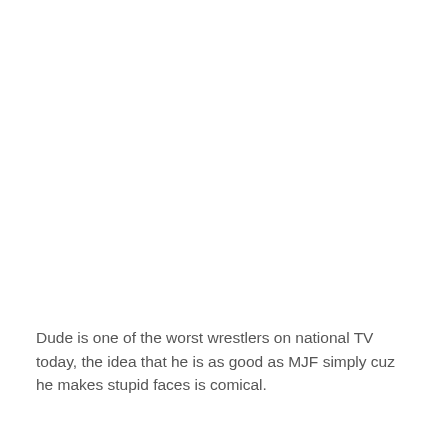Dude is one of the worst wrestlers on national TV today, the idea that he is as good as MJF simply cuz he makes stupid faces is comical.